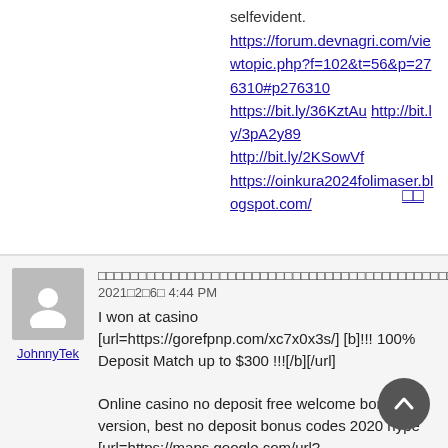selfevident.
https://forum.devnagri.com/viewtopic.php?f=102&t=56&p=276310#p276310
https://bit.ly/36KztAu http://bit.ly/3pA2y89
http://bit.ly/2KSowVf
https://oinkura2024folimaser.blogspot.com/
□□
□□□□□□□□□□□□□□□□□□□□□□□□□□□□□□□□□□□□□□□□□□□□□□
2021□2□6□ 4:44 PM
JohnnyTek
I won at casino
[url=https://gorefpnp.com/xc7x0x3s/] [b]!!! 100% Deposit Match up to $300 !!![/b][/url]

Online casino no deposit free welcome bonus version, best no deposit bonus codes 2020 hyper [url=https://maps.google.com/url?